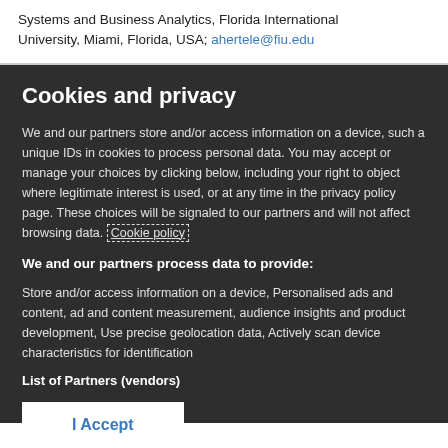Systems and Business Analytics, Florida International University, Miami, Florida, USA; ahertele@fiu.edu
Cookies and privacy
We and our partners store and/or access information on a device, such a unique IDs in cookies to process personal data. You may accept or manage your choices by clicking below, including your right to object where legitimate interest is used, or at any time in the privacy policy page. These choices will be signaled to our partners and will not affect browsing data. Cookie policy
We and our partners process data to provide:
Store and/or access information on a device, Personalised ads and content, ad and content measurement, audience insights and product development, Use precise geolocation data, Actively scan device characteristics for identification
List of Partners (vendors)
I Accept